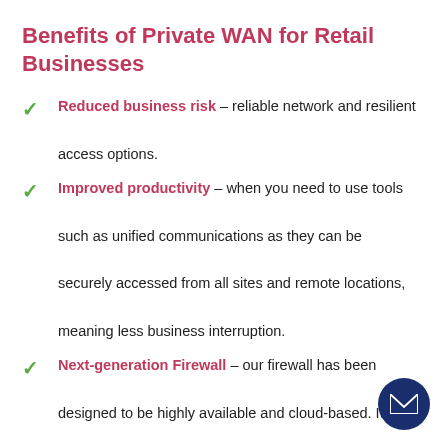Benefits of Private WAN for Retail Businesses
Reduced business risk – reliable network and resilient access options.
Improved productivity – when you need to use tools such as unified communications as they can be securely accessed from all sites and remote locations, meaning less business interruption.
Next-generation Firewall – our firewall has been designed to be highly available and cloud-based. It protects all of your VPN's and ensures all users, whether they are based on-site or remotely receiv